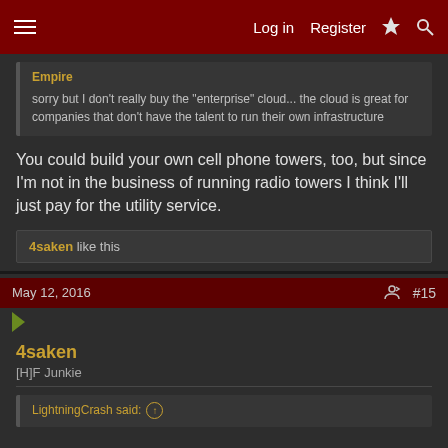Log in  Register  [lightning] [search]
Empire
sorry but I don't really buy the "enterprise" cloud... the cloud is great for companies that don't have the talent to run their own infrastructure
You could build your own cell phone towers, too, but since I'm not in the business of running radio towers I think I'll just pay for the utility service.
4saken like this
May 12, 2016  #15
4saken
[H]F Junkie
LightningCrash said: ↑